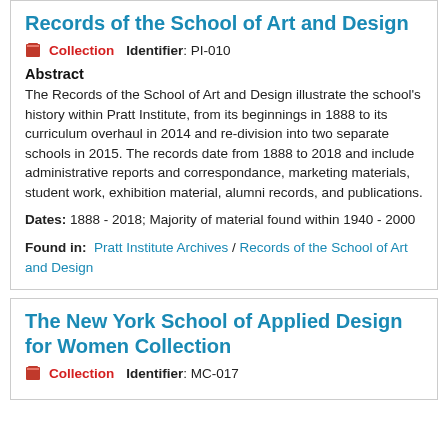Records of the School of Art and Design
Collection   Identifier: PI-010
Abstract
The Records of the School of Art and Design illustrate the school's history within Pratt Institute, from its beginnings in 1888 to its curriculum overhaul in 2014 and re-division into two separate schools in 2015. The records date from 1888 to 2018 and include administrative reports and correspondance, marketing materials, student work, exhibition material, alumni records, and publications.
Dates: 1888 - 2018; Majority of material found within 1940 - 2000
Found in: Pratt Institute Archives / Records of the School of Art and Design
The New York School of Applied Design for Women Collection
Collection   Identifier: MC-017